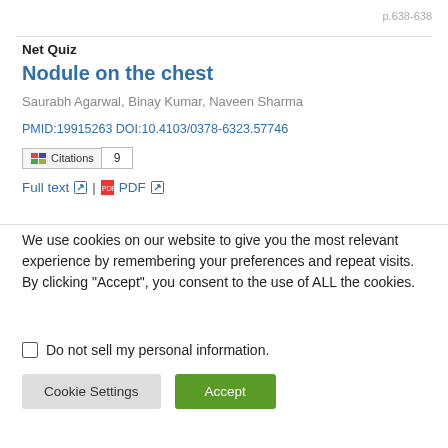p.638-638
Net Quiz
Nodule on the chest
Saurabh Agarwal, Binay Kumar, Naveen Sharma
PMID:19915263 DOI:10.4103/0378-6323.57746
Citations 9
Full text | PDF
We use cookies on our website to give you the most relevant experience by remembering your preferences and repeat visits. By clicking “Accept”, you consent to the use of ALL the cookies.
Do not sell my personal information.
Cookie Settings  Accept